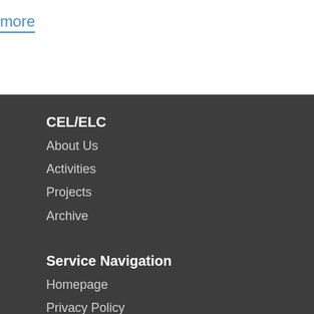more
CEL/ELC
About Us
Activities
Projects
Archive
Service Navigation
Homepage
Privacy Policy
Sisteman